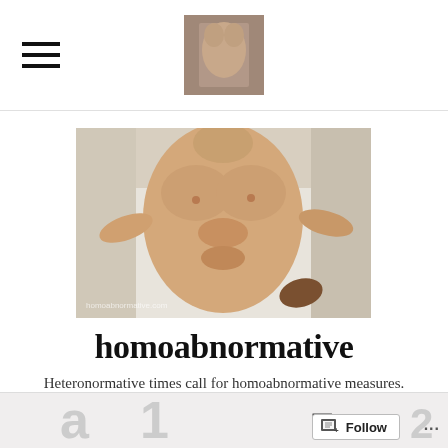Navigation bar with hamburger menu and thumbnail logo
[Figure (photo): Shirtless person lying on white surface, torso visible, with text watermark 'homoabnormative.com']
homoabnormative
Heteronormative times call for homoabnormative measures.
Follow button and navigation icons at bottom